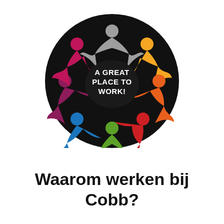[Figure (logo): Circular logo with colorful stylized human figures arranged in a pinwheel around a dark center with the text 'A GREAT PLACE TO WORK!' in white. Figures are colored gray, orange, red/orange, green, blue, red/pink, and purple/maroon on a black circular background.]
Waarom werken bij Cobb?